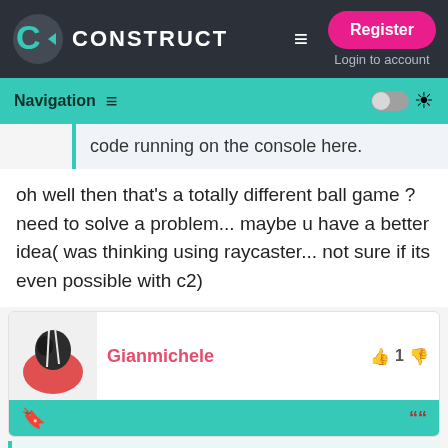[Figure (screenshot): Construct website top navigation bar with logo, hamburger menu, Register button, and Login to account link]
Navigation
code running on the console here.
oh well then that's a totally different ball game ? need to solve a problem... maybe u have a better idea( was thinking using raycaster... not sure if its even possible with c2)
Gianmichele
1
I was actually speaking specifically from experience in trying to port Cosmochoria to Wii U. It did not run well on the Wii U dev kit, even after lots and lots and lots